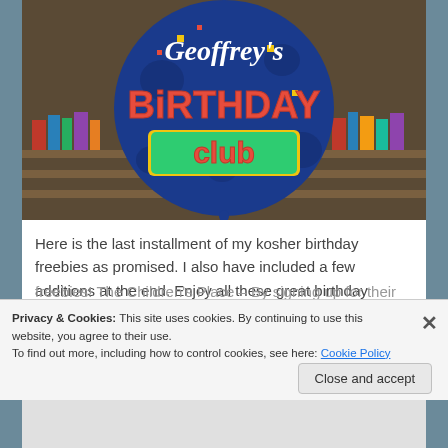[Figure (photo): A blue helium balloon with 'Geoffrey's Birthday Club' text on it, in a store setting with shelves in the background.]
Here is the last installment of my kosher birthday freebies as promised. I also have included a few additions at the end. Enjoy all these great birthday freebies! The Children's Place – By signing up for their...
Privacy & Cookies: This site uses cookies. By continuing to use this website, you agree to their use.
To find out more, including how to control cookies, see here: Cookie Policy
Close and accept